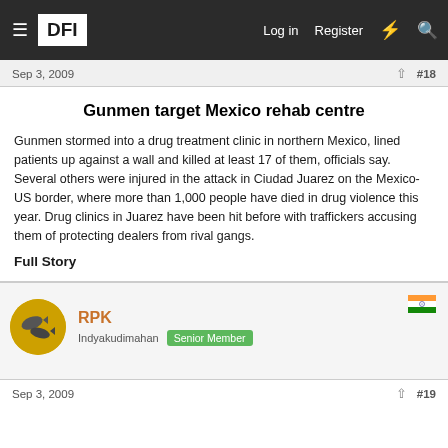DFI — Log in  Register
Sep 3, 2009  #18
Gunmen target Mexico rehab centre
Gunmen stormed into a drug treatment clinic in northern Mexico, lined patients up against a wall and killed at least 17 of them, officials say. Several others were injured in the attack in Ciudad Juarez on the Mexico-US border, where more than 1,000 people have died in drug violence this year. Drug clinics in Juarez have been hit before with traffickers accusing them of protecting dealers from rival gangs.
Full Story
RPK
Indyakudimahan  Senior Member
Sep 3, 2009  #19